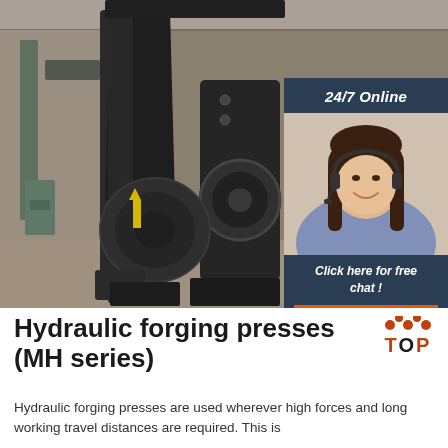[Figure (photo): Industrial hydraulic forging press machine in a factory/warehouse setting, large black heavy machinery with mechanical components visible. A 24/7 online chat overlay in the top-right corner shows a smiling woman with a headset, text '24/7 Online', 'Click here for free chat!', and an orange 'QUOTATION' button.]
Hydraulic forging presses (MH series)
Hydraulic forging presses are used wherever high forces and long working travel distances are required. This is